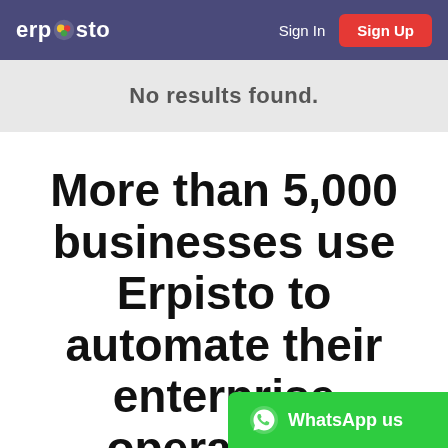Erpisto | Sign In | Sign Up
No results found.
More than 5,000 businesses use Erpisto to automate their enterprise operations
[Figure (other): WhatsApp us button with WhatsApp logo icon, green background]